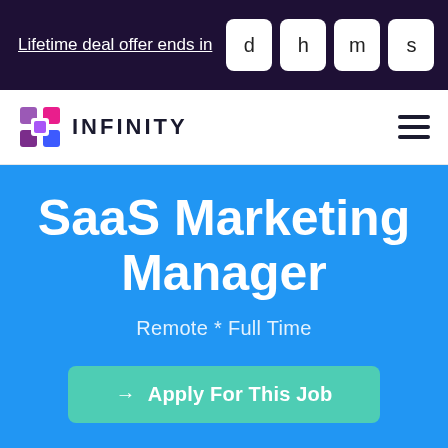Lifetime deal offer ends in   d  h  m  s
[Figure (logo): Infinity logo with purple/pink mosaic squares icon and text INFINITY]
SaaS Marketing Manager
Remote * Full Time
→ Apply For This Job